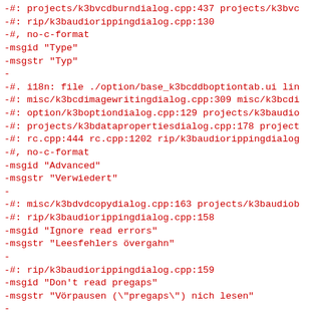-#: projects/k3bvcdburndialog.cpp:437 projects/k3bvc
-#: rip/k3baudiorippingdialog.cpp:130
-#, no-c-format
-msgid "Type"
-msgstr "Typ"
-
-#. i18n: file ./option/base_k3bcddboptiontab.ui lin
-#: misc/k3bcdimagewritingdialog.cpp:309 misc/k3bcdi
-#: option/k3boptiondialog.cpp:129 projects/k3baudio
-#: projects/k3bdatapropertiesdialog.cpp:178 project
-#: rc.cpp:444 rc.cpp:1202 rip/k3baudiorippingdialog
-#, no-c-format
-msgid "Advanced"
-msgstr "Verwiedert"
-
-#: misc/k3bdvdcopydialog.cpp:163 projects/k3baudiob
-#: rip/k3baudiorippingdialog.cpp:158
-msgid "Ignore read errors"
-msgstr "Leesfehlers övergahn"
-
-#: rip/k3baudiorippingdialog.cpp:159
-msgid "Don't read pregaps"
-msgstr "Vörpausen (\"pregaps\") nich lesen"
-
-#: misc/k3bcdcopydialog.cpp:182 projects/k3baudiobu
-#: rip/k3baudiorippingdialog.cpp:161
-msgid "Paranoia mode:"
-msgstr "Paranoia-Bedrief:"
-
-#: misc/k3bcdcopydialog.cpp:167 misc/k3bcopydial